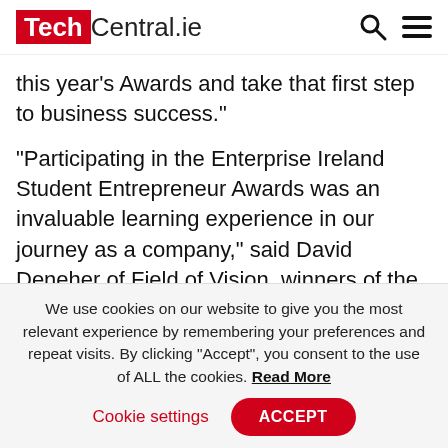TechCentral.ie
this year’s Awards and take that first step to business success.”
“Participating in the Enterprise Ireland Student Entrepreneur Awards was an invaluable learning experience in our journey as a company,” said David Deneher of Field of Vision, winners of the 2021 Enterprise Ireland Student Entrepreneur of the Year. “Winning the overall award provided us with the necessary confidence, exposure and funding to bring
We use cookies on our website to give you the most relevant experience by remembering your preferences and repeat visits. By clicking “Accept”, you consent to the use of ALL the cookies. Read More
Cookie settings  ACCEPT